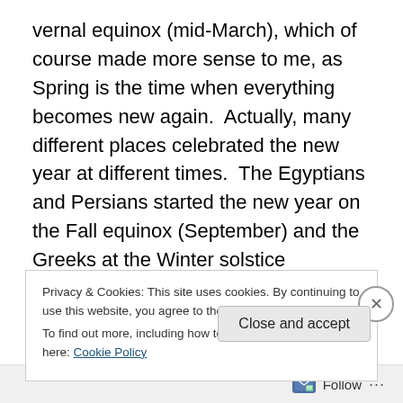vernal equinox (mid-March), which of course made more sense to me, as Spring is the time when everything becomes new again.  Actually, many different places celebrated the new year at different times.  The Egyptians and Persians started the new year on the Fall equinox (September) and the Greeks at the Winter solstice (December).

So, why do we celebrate in January? Well, the month of January had to be created before we could start to celebrate during it.  The calendar used to only have 10
Privacy & Cookies: This site uses cookies. By continuing to use this website, you agree to their use.
To find out more, including how to control cookies, see here: Cookie Policy
Close and accept
Follow